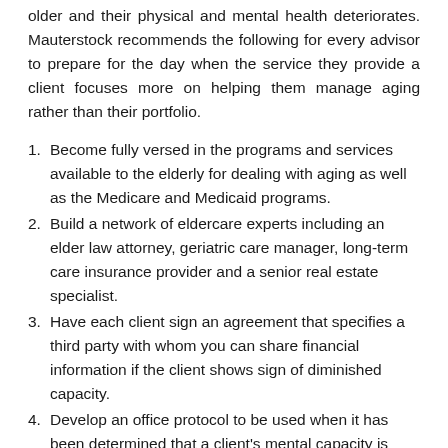older and their physical and mental health deteriorates. Mauterstock recommends the following for every advisor to prepare for the day when the service they provide a client focuses more on helping them manage aging rather than their portfolio.
Become fully versed in the programs and services available to the elderly for dealing with aging as well as the Medicare and Medicaid programs.
Build a network of eldercare experts including an elder law attorney, geriatric care manager, long-term care insurance provider and a senior real estate specialist.
Have each client sign an agreement that specifies a third party with whom you can share financial information if the client shows sign of diminished capacity.
Develop an office protocol to be used when it has been determined that a client's mental capacity is slipping.
Mauterstock has written two books to help families have the conversation about dealing with the physical and mental decline of aging. He feels that advisors should take a proactive approach to facilitate these discussions in order to ensure that a plan is in place